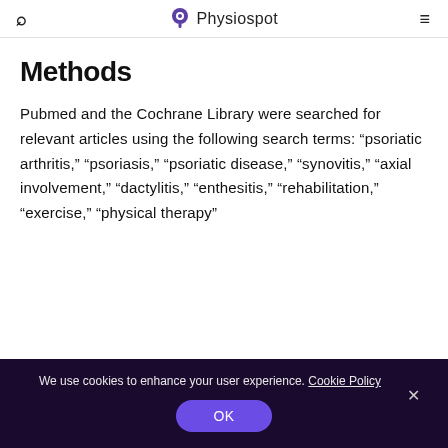Physiospot
Methods
Pubmed and the Cochrane Library were searched for relevant articles using the following search terms: “psoriatic arthritis,” “psoriasis,” “psoriatic disease,” “synovitis,” “axial involvement,” “dactylitis,” “enthesitis,” “rehabilitation,” “exercise,” “physical therapy”
We use cookies to enhance your user experience. Cookie Policy